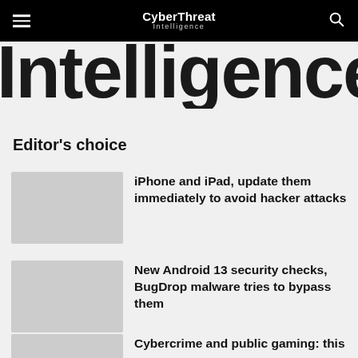CyberThreat Intelligence
Intelligence
Editor's choice
iPhone and iPad, update them immediately to avoid hacker attacks
New Android 13 security checks, BugDrop malware tries to bypass them
Cybercrime and public gaming: this